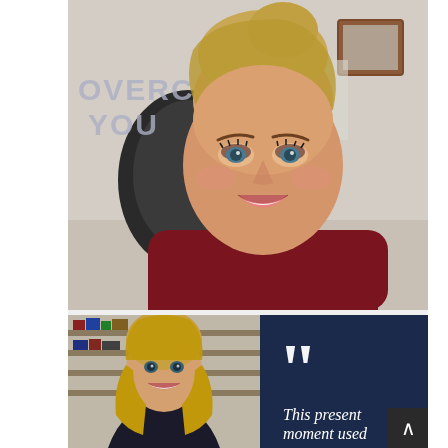[Figure (photo): Close-up selfie photo of a blonde woman with hair up, wearing a dark red/maroon long-sleeve top, smiling at camera. Background shows partial text 'OVERCO' and 'YOU' on a banner/sign, and an office chair. She appears to be in an office or home office setting.]
[Figure (photo): Composite image with dark navy blue background, large white quotation marks in upper right area, and text 'This present moment used' in italic white serif font. On the left side is a smaller photo of a blonde woman in professional attire smiling.]